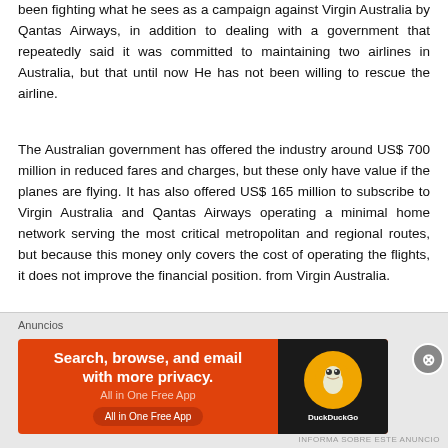been fighting what he sees as a campaign against Virgin Australia by Qantas Airways, in addition to dealing with a government that repeatedly said it was committed to maintaining two airlines in Australia, but that until now He has not been willing to rescue the airline.
The Australian government has offered the industry around US$ 700 million in reduced fares and charges, but these only have value if the planes are flying. It has also offered US$ 165 million to subscribe to Virgin Australia and Qantas Airways operating a minimal home network serving the most critical metropolitan and regional routes, but because this money only covers the cost of operating the flights, it does not improve the financial position. from Virgin Australia.
The collapse of Virgin Australia increases the chance that Qantas Airways will once again enjoy a monopoly on Australia's major air routes, as happened after the collapse of Ansett Airlines in 2002. This resulted in increased fares. The Australian Flight Attendants Association said it was important for governments to think about how they wanted the
Anuncios
[Figure (other): DuckDuckGo advertisement banner: 'Search, browse, and email with more privacy. All in One Free App' with DuckDuckGo logo on dark background]